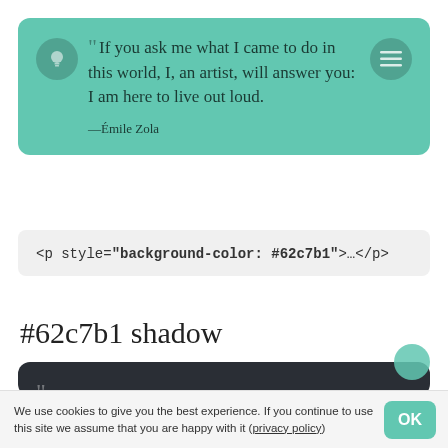[Figure (screenshot): Teal quote card with lightbulb icon and hamburger menu icon, containing a quote by Émile Zola: 'If you ask me what I came to do in this world, I, an artist, will answer you: I am here to live out loud.' Attribution: —Émile Zola]
<p style="background-color: #62c7b1">…</p>
#62c7b1 shadow
[Figure (screenshot): Dark card with quote: 'Everything has its beauty, but not everyone sees it.']
We use cookies to give you the best experience. If you continue to use this site we assume that you are happy with it (privacy policy)